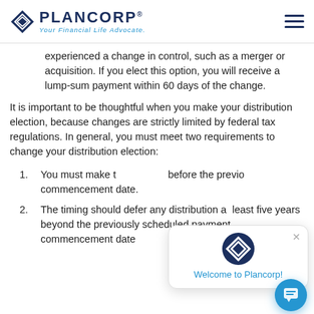PLANCORP — Your Financial Life Advocate.
experienced a change in control, such as a merger or acquisition. If you elect this option, you will receive a lump-sum payment within 60 days of the change.
It is important to be thoughtful when you make your distribution election, because changes are strictly limited by federal tax regulations. In general, you must meet two requirements to change your distribution election:
You must make the election before the previous commencement date.
The timing should defer any distribution at least five years beyond the previously scheduled payment commencement date